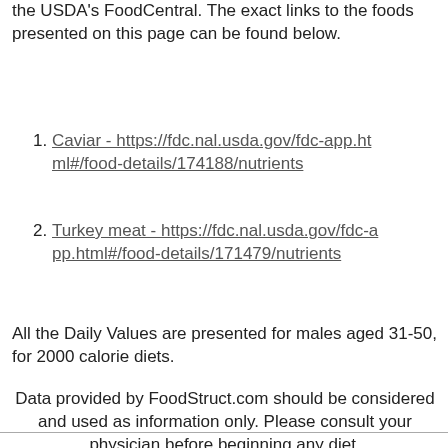the USDA's FoodCentral. The exact links to the foods presented on this page can be found below.
Caviar - https://fdc.nal.usda.gov/fdc-app.html#/food-details/174188/nutrients
Turkey meat - https://fdc.nal.usda.gov/fdc-app.html#/food-details/171479/nutrients
All the Daily Values are presented for males aged 31-50, for 2000 calorie diets.
Data provided by FoodStruct.com should be considered and used as information only. Please consult your physician before beginning any diet.